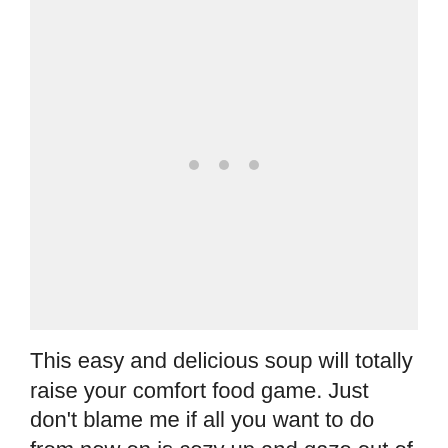[Figure (photo): Large light gray placeholder image area with three small gray dots centered near the vertical middle of the image area, indicating a loading or placeholder state.]
This easy and delicious soup will totally raise your comfort food game. Just don't blame me if all you want to do from now on is cozy up and gaze out of the window...